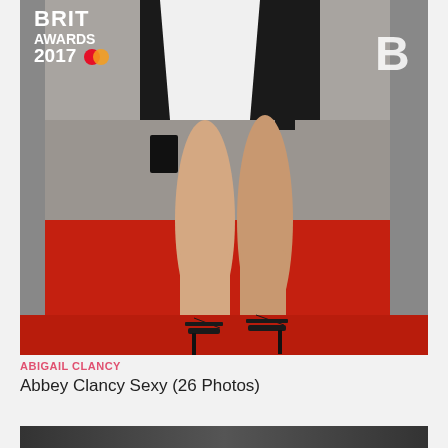[Figure (photo): Photo of Abbey Clancy (Abigail Clancy) at the BRIT Awards 2017, showing her legs and black strappy high heels on a red carpet. She is wearing a black and white outfit. The BRIT Awards 2017 logo and Mastercard logo are visible in the background.]
ABIGAIL CLANCY
Abbey Clancy Sexy (26 Photos)